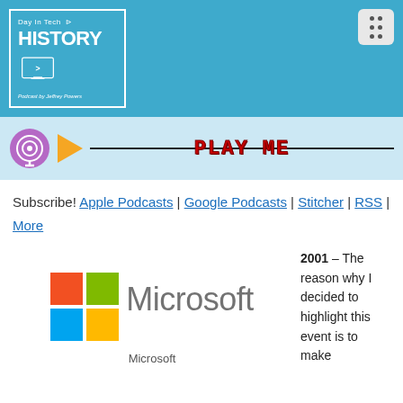[Figure (logo): Day In Tech HISTORY podcast logo on blue background header with menu icon]
[Figure (screenshot): Podcast player bar with purple podcast icon, orange play button, horizontal line, and PLAY ME text in red]
Subscribe! Apple Podcasts | Google Podcasts | Stitcher | RSS | More
[Figure (logo): Microsoft logo with four colored squares and Microsoft wordmark in gray]
Microsoft
2001 – The reason why I decided to highlight this event is to make